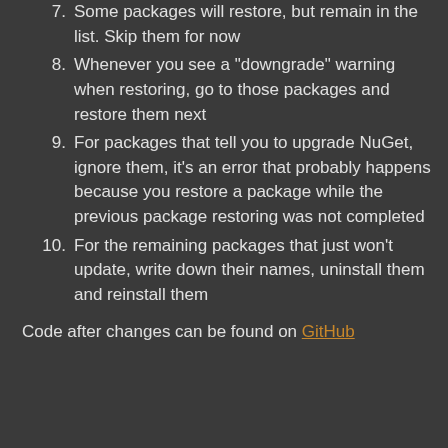7. Some packages will restore, but remain in the list. Skip them for now
8. Whenever you see a "downgrade" warning when restoring, go to those packages and restore them next
9. For packages that tell you to upgrade NuGet, ignore them, it's an error that probably happens because you restore a package while the previous package restoring was not completed
10. For the remaining packages that just won't update, write down their names, uninstall them and reinstall them
Code after changes can be found on GitHub